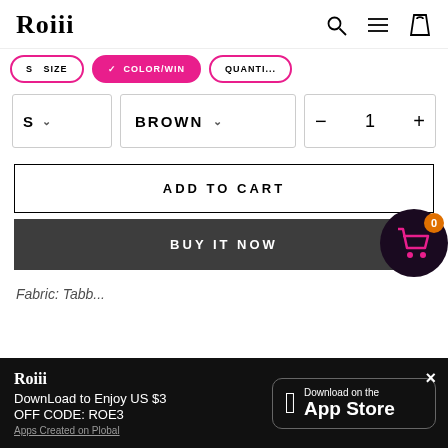Roiii
[Figure (screenshot): Pink tab bar with SIZE, COLOR/WIN, QUANTITY labels]
S  BROWN  - 1 +
ADD TO CART
BUY IT NOW
Fabric: Tabb...
Roiii
DownLoad to Enjoy US $3
OFF CODE: ROE3
Apps Created on Plobal
[Figure (logo): Download on the App Store button]